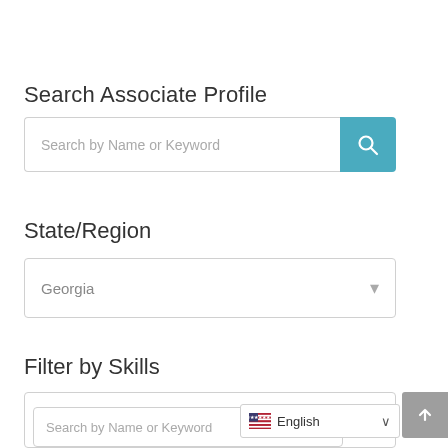Search Associate Profile
[Figure (screenshot): Search input box with placeholder 'Search by Name or Keyword' and a teal search button with magnifier icon]
State/Region
[Figure (screenshot): Dropdown select box showing 'Georgia' with a down arrow]
Filter by Skills
[Figure (screenshot): Skills filter box with an inner search field 'Search by Name or Keyword']
[Figure (screenshot): English language selector with US flag and chevron, and grey back-to-top button]